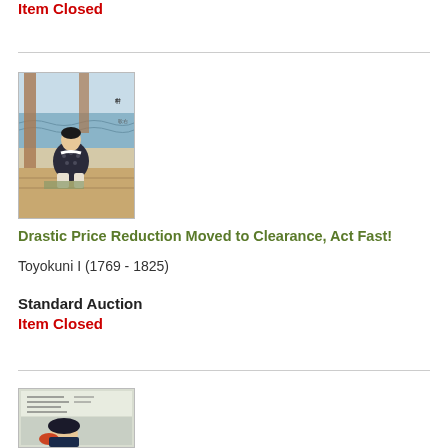Item Closed
[Figure (illustration): Japanese woodblock print showing a figure in traditional clothing seated on a wooden platform near water, with architectural elements in the background. Ukiyo-e style print by Toyokuni I.]
Drastic Price Reduction Moved to Clearance, Act Fast!
Toyokuni I (1769 - 1825)
Standard Auction
Item Closed
[Figure (illustration): Japanese woodblock print partially visible, showing a figure with text/calligraphy elements, Ukiyo-e style.]